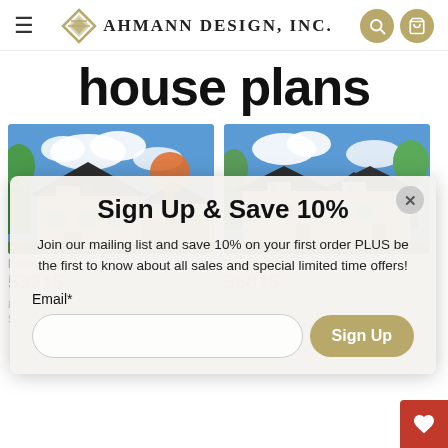Ahmann Design, Inc. — navigation bar with hamburger menu, logo, search and cart icons
house plans
[Figure (screenshot): Two house plan product card images showing residential homes with pitched roofs, trees, and blue sky backgrounds. Left card shows House Plan 53215, right card shows House Plan 56816.]
Sign Up & Save 10%
Join our mailing list and save 10% on your first order PLUS be the first to know about all sales and special limited time offers!
Email*
Sign Up
House Plan 53215
House Plan 56816
from $918.00
Sq Ft    Bed    Bath
Sq Ft    Bed    B